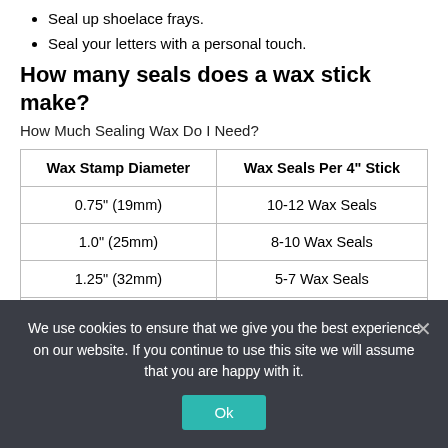Seal up shoelace frays.
Seal your letters with a personal touch.
How many seals does a wax stick make?
How Much Sealing Wax Do I Need?
| Wax Stamp Diameter | Wax Seals Per 4" Stick |
| --- | --- |
| 0.75" (19mm) | 10-12 Wax Seals |
| 1.0" (25mm) | 8-10 Wax Seals |
| 1.25" (32mm) | 5-7 Wax Seals |
| 1.5" (38mm) | 3-5 Wax Seals |
Posted in FAQ
We use cookies to ensure that we give you the best experience on our website. If you continue to use this site we will assume that you are happy with it.